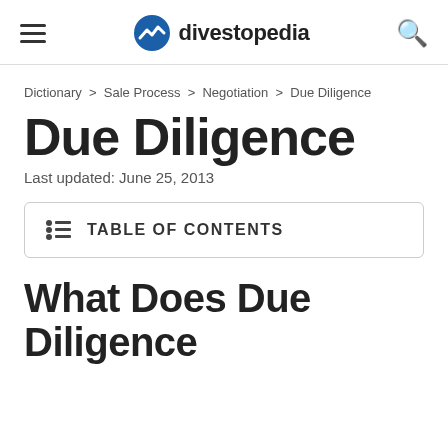divestopedia
Dictionary > Sale Process > Negotiation > Due Diligence
Due Diligence
Last updated: June 25, 2013
TABLE OF CONTENTS
What Does Due Diligence